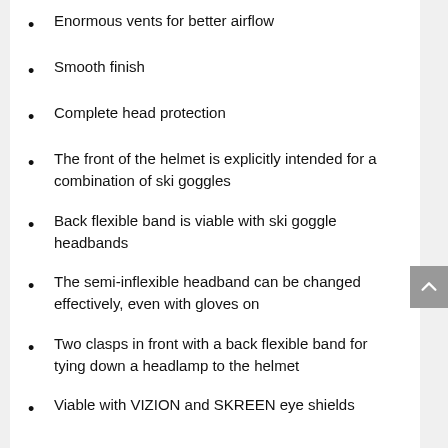Enormous vents for better airflow
Smooth finish
Complete head protection
The front of the helmet is explicitly intended for a combination of ski goggles
Back flexible band is viable with ski goggle headbands
The semi-inflexible headband can be changed effectively, even with gloves on
Two clasps in front with a back flexible band for tying down a headlamp to the helmet
Viable with VIZION and SKREEN eye shields